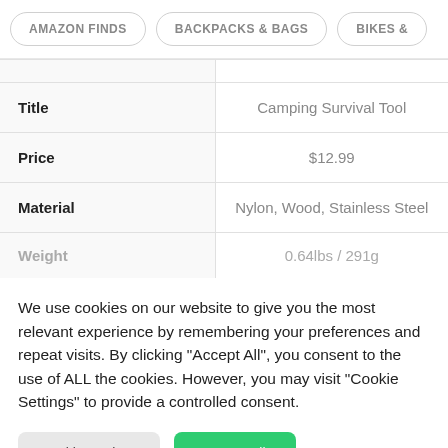AMAZON FINDS | BACKPACKS & BAGS | BIKES &
|  |  |
| Title | Camping Survival Tool |
| Price | $12.99 |
| Material | Nylon, Wood, Stainless Steel |
| Weight | 0.64lbs / 291g |
We use cookies on our website to give you the most relevant experience by remembering your preferences and repeat visits. By clicking "Accept All", you consent to the use of ALL the cookies. However, you may visit "Cookie Settings" to provide a controlled consent.
Cookie Settings   Accept All